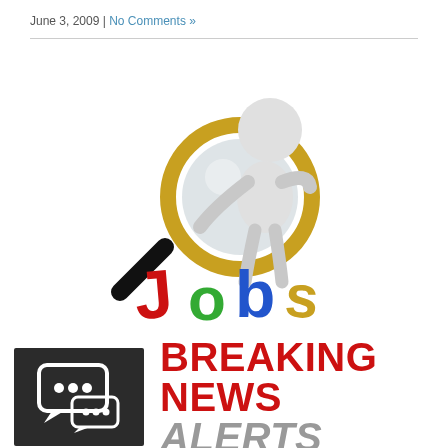June 3, 2009 | No Comments »
[Figure (illustration): 3D figure of a white humanoid character holding a large magnifying glass, standing over colorful 3D block letters spelling 'Jobs' — J in red, o in green, b in blue, s in gold/yellow.]
[Figure (logo): Breaking News Alerts logo: dark gray/black square with white speech bubble icons on the left; bold red text 'BREAKING NEWS' and italic gray text 'ALERTS' on the right.]